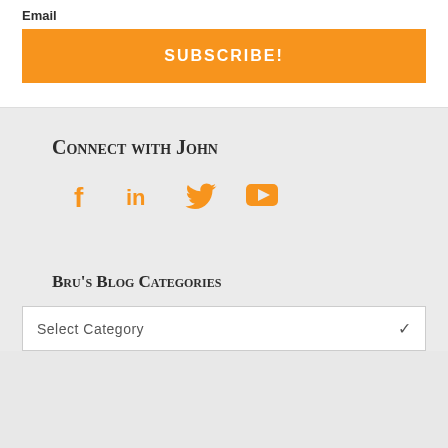Email
SUBSCRIBE!
Connect with John
[Figure (infographic): Four social media icons in orange: Facebook (f), LinkedIn (in), Twitter (bird), YouTube (play button)]
Bru's Blog Categories
Select Category